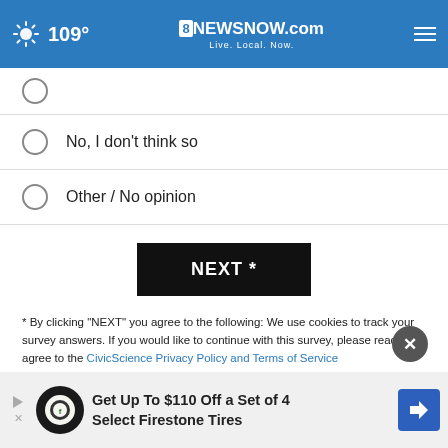109° 8NewsNow.com Live. Local. Now.
No, I don't think so
Other / No opinion
NEXT *
* By clicking "NEXT" you agree to the following: We use cookies to track your survey answers. If you would like to continue with this survey, please read and agree to the CivicScience Privacy Policy and Terms of Service
[Figure (infographic): Advertisement bar: Get Up To $110 Off a Set of 4 Select Firestone Tires, with Firestone logo and blue arrow icon]